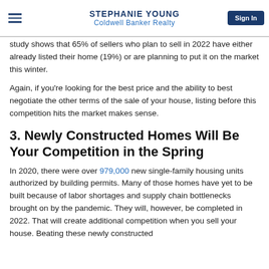STEPHANIE YOUNG
Coldwell Banker Realty
study shows that 65% of sellers who plan to sell in 2022 have either already listed their home (19%) or are planning to put it on the market this winter.
Again, if you're looking for the best price and the ability to best negotiate the other terms of the sale of your house, listing before this competition hits the market makes sense.
3. Newly Constructed Homes Will Be Your Competition in the Spring
In 2020, there were over 979,000 new single-family housing units authorized by building permits. Many of those homes have yet to be built because of labor shortages and supply chain bottlenecks brought on by the pandemic. They will, however, be completed in 2022. That will create additional competition when you sell your house. Beating these newly constructed